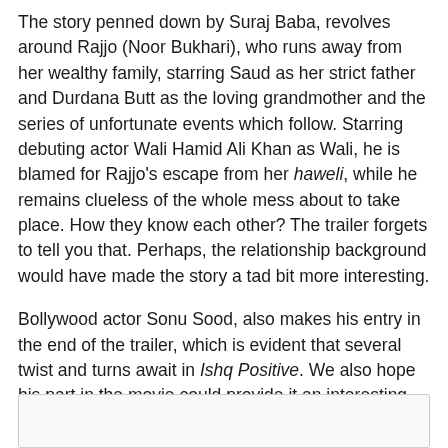The story penned down by Suraj Baba, revolves around Rajjo (Noor Bukhari), who runs away from her wealthy family, starring Saud as her strict father and Durdana Butt as the loving grandmother and the series of unfortunate events which follow. Starring debuting actor Wali Hamid Ali Khan as Wali, he is blamed for Rajjo's escape from her haweli, while he remains clueless of the whole mess about to take place. How they know each other? The trailer forgets to tell you that. Perhaps, the relationship background would have made the story a tad bit more interesting.
Bollywood actor Sonu Sood, also makes his entry in the end of the trailer, which is evident that several twist and turns await in Ishq Positive. We also hope his part in the movie could provide it an interesting element (if any) because we weren't able to!
[Figure (other): Empty bordered box at the bottom of the page]